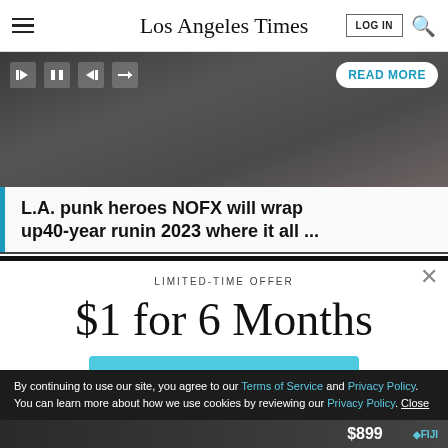Los Angeles Times
[Figure (screenshot): Media player showing NOFX concert image with player controls and READ MORE button]
L.A. punk heroes NOFX will wrap up40-year runin 2023 where it all ...
LIMITED-TIME OFFER
$1 for 6 Months
SUBSCRIBE NOW
By continuing to use our site, you agree to our Terms of Service and Privacy Policy. You can learn more about how we use cookies by reviewing our Privacy Policy. Close